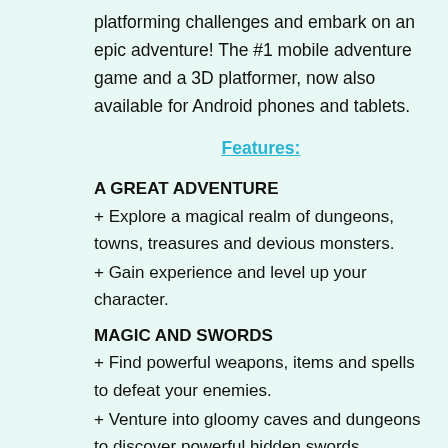platforming challenges and embark on an epic adventure! The #1 mobile adventure game and a 3D platformer, now also available for Android phones and tablets.
Features:
A GREAT ADVENTURE
+ Explore a magical realm of dungeons, towns, treasures and devious monsters.
+ Gain experience and level up your character.
MAGIC AND SWORDS
+ Find powerful weapons, items and spells to defeat your enemies.
+ Venture into gloomy caves and dungeons to discover powerful hidden swords.
SIDE-SCROLLER PLATFORMER GAME
+ Fluid and challenging platforming gameplay designed specifically for mobile devices.